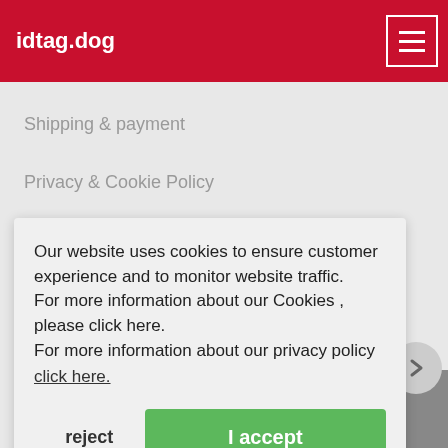idtag.dog
Shipping & payment
Privacy & Cookie Policy
Terms & Conditions
Reviews
Our website uses cookies to ensure customer experience and to monitor website traffic. For more information about our Cookies , please click here. For more information about our privacy policy click here.
reject
I accept